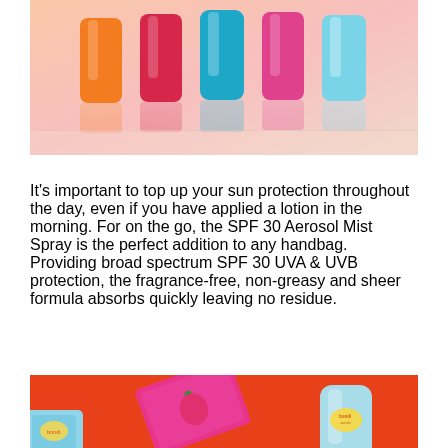[Figure (photo): Colorful sunscreen tubes/bottles (orange, red/pink, blue, pink, light blue) standing upright on a light peach/pink background with their reflections visible below]
It's important to top up your sun protection throughout the day, even if you have applied a lotion in the morning. For on the go, the SPF 30 Aerosol Mist Spray is the perfect addition to any handbag. Providing broad spectrum SPF 30 UVA & UVB protection, the fragrance-free, non-greasy and sheer formula absorbs quickly leaving no residue.
[Figure (photo): Bondi Sands skincare products including lip balm and tubes on a bright orange/red background, with a pink strawberry-themed product packaging visible]